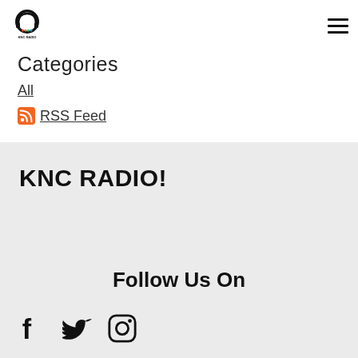[Figure (logo): KNC Radio logo — headphones icon with colorful dots and KNC RADIO text below]
Categories
All
RSS Feed
KNC RADIO!
Follow Us On
[Figure (illustration): Social media icons: Facebook (f), Twitter (bird), Instagram (camera)]